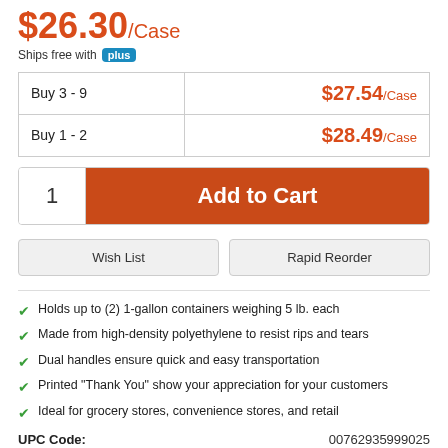$26.30/Case
Ships free with plus
| Qty | Price |
| --- | --- |
| Buy 3 - 9 | $27.54/Case |
| Buy 1 - 2 | $28.49/Case |
1  Add to Cart
Wish List  Rapid Reorder
Holds up to (2) 1-gallon containers weighing 5 lb. each
Made from high-density polyethylene to resist rips and tears
Dual handles ensure quick and easy transportation
Printed "Thank You" show your appreciation for your customers
Ideal for grocery stores, convenience stores, and retail
UPC Code:   00762935999025